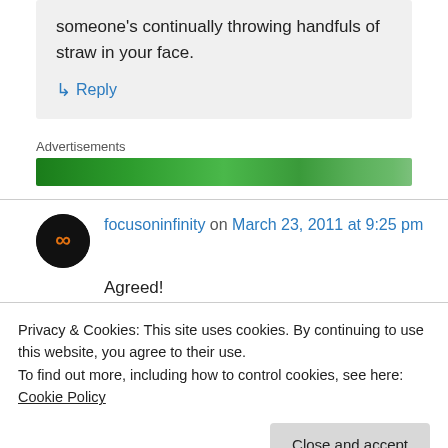someone's continually throwing handfuls of straw in your face.
↳ Reply
Advertisements
[Figure (other): Green advertisement banner bar]
focusoninfinity on March 23, 2011 at 9:25 pm
Agreed!
Privacy & Cookies: This site uses cookies. By continuing to use this website, you agree to their use.
To find out more, including how to control cookies, see here: Cookie Policy
Close and accept
Actually there is abundant evidence, ignored by